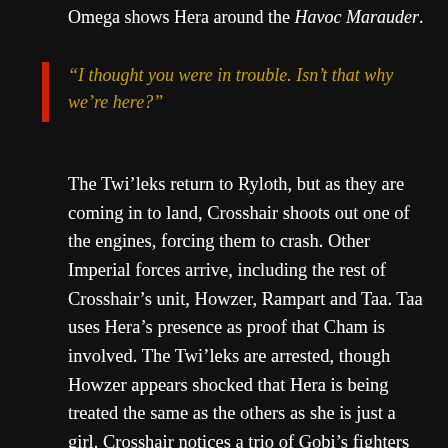Omega shows Hera around the Havoc Marauder.
“I thought you were in trouble. Isn’t that why we’re here?”
The Twi’leks return to Ryloth, but as they are coming in to land, Crosshair shoots out one of the engines, forcing them to crash. Other Imperial forces arrive, including the rest of Crosshair’s unit, Howzer, Rampart and Taa. Taa uses Hera’s presence as proof that Cham is involved. The Twi’leks are arrested, though Howzer appears shocked that Hera is being treated the same as the others as she is just a girl. Crosshair notices a trio of Gobi’s fighters watching the events, but is told to let them go and report back.